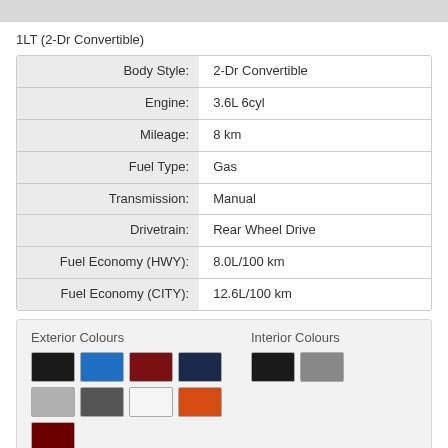1LT (2-Dr Convertible)
| Label | Value |
| --- | --- |
| Body Style: | 2-Dr Convertible |
| Engine: | 3.6L 6cyl |
| Mileage: | 8 km |
| Fuel Type: | Gas |
| Transmission: | Manual |
| Drivetrain: | Rear Wheel Drive |
| Fuel Economy (HWY): | 8.0L/100 km |
| Fuel Economy (CITY): | 12.6L/100 km |
[Figure (infographic): Colour swatches showing Exterior Colours (black, blue, dark red, dark navy, light grey, dark grey, white, orange, dark red) and Interior Colours (black, grey)]